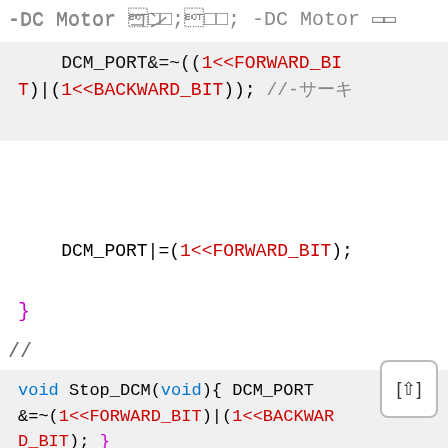-DC Motor 제어
DCM_PORT&=~((1<<FORWARD_BIT)|(1<<BACKWARD_BIT)); //-모터정지 모드 설정
DCM_PORT|=(1<<FORWARD_BIT);
}
//
void Stop_DCM(void){ DCM_PORT&=~(1<<FORWARD_BIT)|(1<<BACKWARD_BIT); }